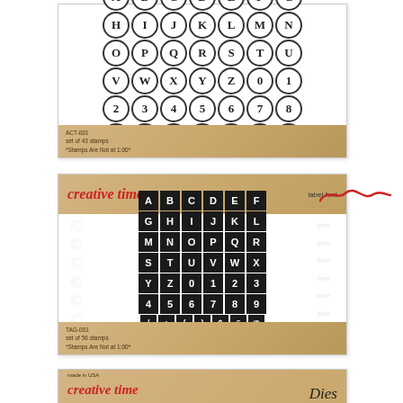[Figure (illustration): Product packaging for typewriter-style circular letter/number stamp set. Shows alphabet A-Z, numbers 0-9, and punctuation marks in circular typewriter key designs arranged in rows. Tan/kraft paper footer with product information text.]
[Figure (illustration): Product packaging for 'creative time' label font stamp set. Header has kraft paper background with red creative time logo and red squiggly line with 'label font' text. Body shows alphabet A-Z, numbers 0-9, and punctuation in black square label-maker style stamps. Watermark copyright marks on left side. Tan/kraft footer with product info.]
[Figure (illustration): Partial view of third product packaging for 'creative time Dies' with kraft paper header showing brand name in red italic script and 'Dies' in black italic serif.]